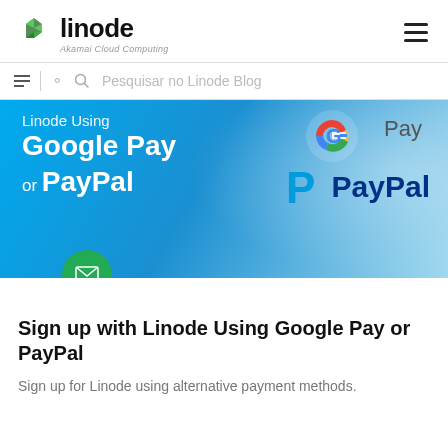linode — Akamai Cloud Computing
Pesquisar no Linode Blog
[Figure (illustration): Banner image for Linode blog post about signing up using Google Pay or PayPal. Blue gradient background with text 'Linode Using Google Pay or PayPal' on left, Google Pay logo and PayPal logo on right, and a green email/envelope button overlay.]
Sign up with Linode Using Google Pay or PayPal
Sign up for Linode using alternative payment methods.